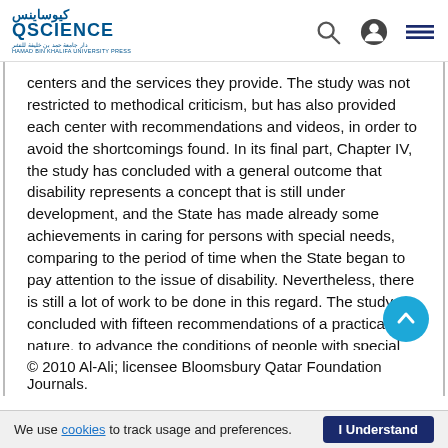QScience — Hamad Bin Khalifa University Press
centers and the services they provide. The study was not restricted to methodical criticism, but has also provided each center with recommendations and videos, in order to avoid the shortcomings found. In its final part, Chapter IV, the study has concluded with a general outcome that disability represents a concept that is still under development, and the State has made already some achievements in caring for persons with special needs, comparing to the period of time when the State began to pay attention to the issue of disability. Nevertheless, there is still a lot of work to be done in this regard. The study concluded with fifteen recommendations of a practical nature, to advance the conditions of people with special needs.
© 2010 Al-Ali; licensee Bloomsbury Qatar Foundation Journals.
We use cookies to track usage and preferences. I Understand